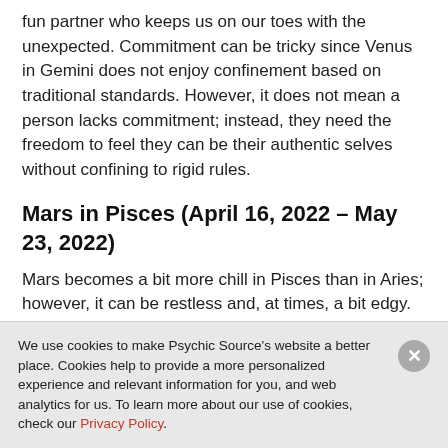fun partner who keeps us on our toes with the unexpected. Commitment can be tricky since Venus in Gemini does not enjoy confinement based on traditional standards. However, it does not mean a person lacks commitment; instead, they need the freedom to feel they can be their authentic selves without confining to rigid rules.
Mars in Pisces (April 16, 2022 – May 23, 2022)
Mars becomes a bit more chill in Pisces than in Aries; however, it can be restless and, at times, a bit edgy.  Mars in Pisces is quiet and non-
We use cookies to make Psychic Source's website a better place. Cookies help to provide a more personalized experience and relevant information for you, and web analytics for us. To learn more about our use of cookies, check our Privacy Policy.